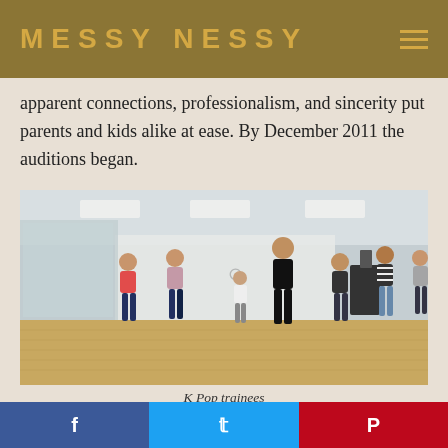MESSY NESSY
apparent connections, professionalism, and sincerity put parents and kids alike at ease. By December 2011 the auditions began.
[Figure (photo): K-Pop trainees dancing in a studio with wooden floors, mirrors, and white walls. Seven young women in casual clothes striking dance poses.]
K Pop trainees
Those wanting to audition, but could not make it